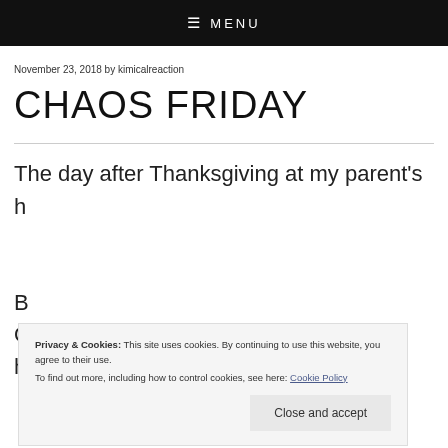☰ MENU
November 23, 2018 by kimicalreaction
CHAOS FRIDAY
The day after Thanksgiving at my parent's h
Privacy & Cookies: This site uses cookies. By continuing to use this website, you agree to their use.
To find out more, including how to control cookies, see here: Cookie Policy
Close and accept